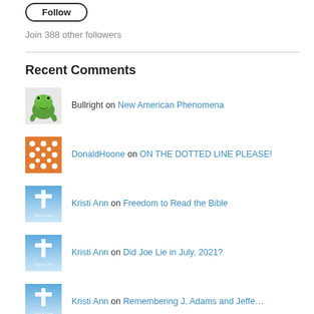[Figure (other): Follow button (rounded rectangle outline with 'Follow' text)]
Join 388 other followers
Recent Comments
Bullright on New American Phenomena
DonaldHoone on ON THE DOTTED LINE PLEASE!
Kristi Ann on Freedom to Read the Bible
Kristi Ann on Did Joe Lie in July, 2021?
Kristi Ann on Remembering J. Adams and Jeffe…